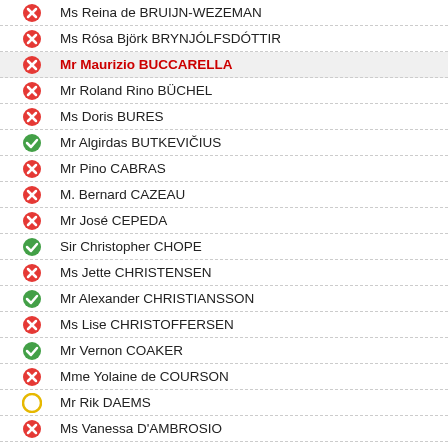Ms Reina de BRUIJN-WEZEMAN
Ms Rósa Björk BRYNJÓLFSDÓTTIR
Mr Maurizio BUCCARELLA
Mr Roland Rino BÜCHEL
Ms Doris BURES
Mr Algirdas BUTKEVIČIUS
Mr Pino CABRAS
M. Bernard CAZEAU
Mr José CEPEDA
Sir Christopher CHOPE
Ms Jette CHRISTENSEN
Mr Alexander CHRISTIANSSON
Ms Lise CHRISTOFFERSEN
Mr Vernon COAKER
Mme Yolaine de COURSON
Mr Rik DAEMS
Ms Vanessa D'AMBROSIO